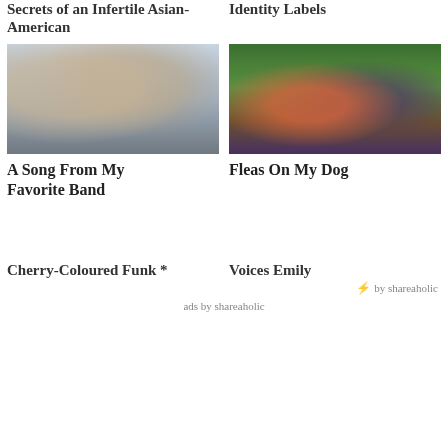Secrets of an Infertile Asian-American
Identity Labels
[Figure (photo): Group of young Asian people posing together outdoors near vehicles, vintage photo]
[Figure (photo): Two animated puppet/muppet-style characters lying on grass, colorful clothing]
A Song From My Favorite Band
Fleas On My Dog
Cherry-Coloured Funk *
Voices Emily
⚡ by shareaholic
ads by shareaholic